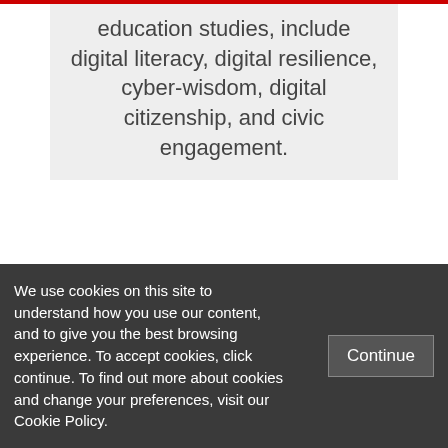education studies, include digital literacy, digital resilience, cyber-wisdom, digital citizenship, and civic engagement.
Posted In: Children and the Media | Media Literacy
Leave a Reply
We use cookies on this site to understand how you use our content, and to give you the best browsing experience. To accept cookies, click continue. To find out more about cookies and change your preferences, visit our Cookie Policy.